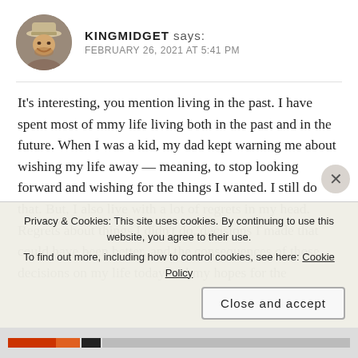KINGMIDGET says: FEBRUARY 26, 2021 AT 5:41 PM
It's interesting, you mention living in the past. I have spent most of mmy life living both in the past and in the future. When I was a kid, my dad kept warning me about wishing my life away — meaning, to stop looking forward and wishing for the things I wanted. I still do that. But, I also live with a lot of regrets in my head. Regrets about things I didn't do, decisions I made that could have been better, and the consequences of those decisions on my life today and my hopes for the
Privacy & Cookies: This site uses cookies. By continuing to use this website, you agree to their use.
To find out more, including how to control cookies, see here: Cookie Policy
Close and accept